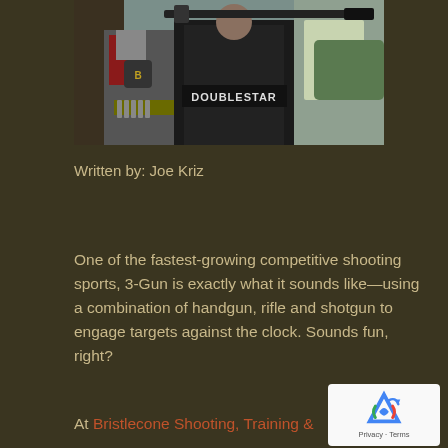[Figure (photo): Two people at an outdoor shooting range. One person wearing a DoubleStar jersey and holding a rifle, another person in a red and gray shooting jersey. Ammunition visible on belt.]
Written by: Joe Kriz
One of the fastest-growing competitive shooting sports, 3-Gun is exactly what it sounds like—using a combination of handgun, rifle and shotgun to engage targets against the clock. Sounds fun, right?
At Bristlecone Shooting, Training & Retail Center,